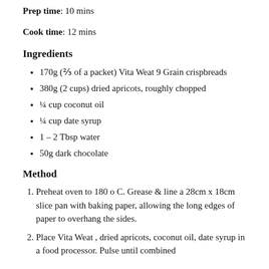Prep time: 10 mins
Cook time: 12 mins
Ingredients
170g (⅔ of a packet) Vita Weat 9 Grain crispbreads
380g (2 cups) dried apricots, roughly chopped
¼ cup coconut oil
¼ cup date syrup
1 – 2 Tbsp water
50g dark chocolate
Method
Preheat oven to 180 o C. Grease & line a 28cm x 18cm slice pan with baking paper, allowing the long edges of paper to overhang the sides.
Place Vita Weat , dried apricots, coconut oil, date syrup in a food processor. Pulse until combined